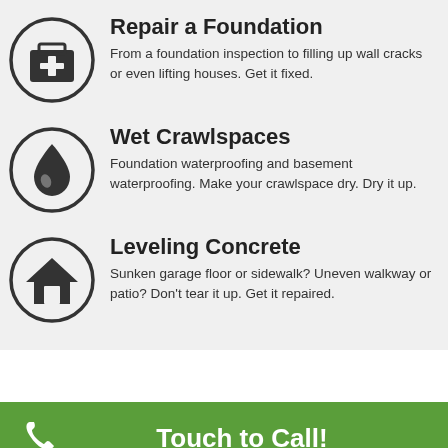[Figure (illustration): First aid kit icon in circle - Repair a Foundation]
Repair a Foundation
From a foundation inspection to filling up wall cracks or even lifting houses. Get it fixed.
[Figure (illustration): Water drop icon in circle - Wet Crawlspaces]
Wet Crawlspaces
Foundation waterproofing and basement waterproofing. Make your crawlspace dry. Dry it up.
[Figure (illustration): House icon in circle - Leveling Concrete]
Leveling Concrete
Sunken garage floor or sidewalk? Uneven walkway or patio? Don't tear it up. Get it repaired.
Touch to Call!